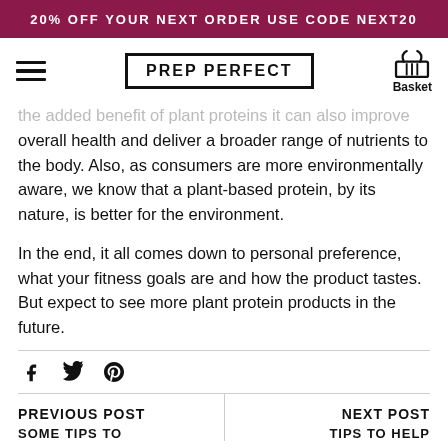20% OFF YOUR NEXT ORDER USE CODE NEXT20
PREP PERFECT
... the added benefit of plant proteins it can also improve overall health and deliver a broader range of nutrients to the body. Also, as consumers are more environmentally aware, we know that a plant-based protein, by its nature, is better for the environment.
In the end, it all comes down to personal preference, what your fitness goals are and how the product tastes. But expect to see more plant protein products in the future.
PREVIOUS POST
SOME TIPS TO
NEXT POST
TIPS TO HELP